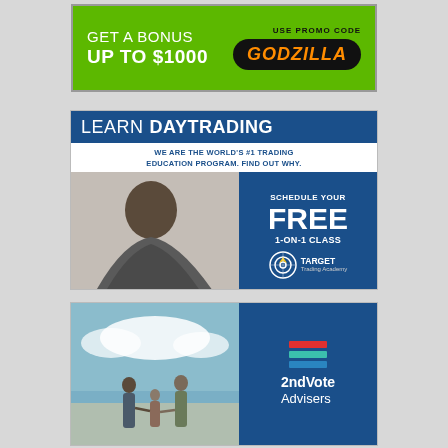[Figure (infographic): Green banner ad: GET A BONUS UP TO $1000. USE PROMO CODE GODZILLA (in orange text on black pill button)]
[Figure (infographic): Learn Daytrading ad with blue header, instructor Pat Assalone photo, and call to action: Schedule Your FREE 1-ON-1 CLASS - Target Trading Academy]
[Figure (infographic): 2ndVote Advisers ad with beach/family photo on left and blue panel with logo on right]